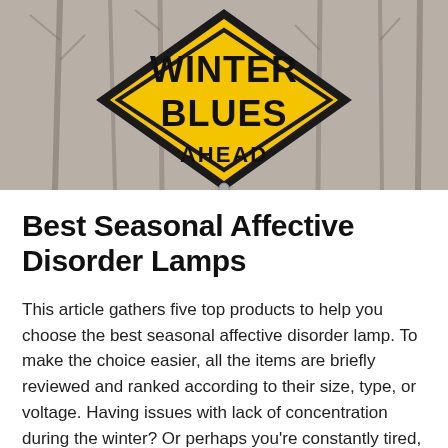[Figure (photo): A yellow diamond-shaped road sign reading 'WINTER BLUES AHEAD' on a post, set against a background of bare winter trees.]
Best Seasonal Affective Disorder Lamps
This article gathers five top products to help you choose the best seasonal affective disorder lamp. To make the choice easier, all the items are briefly reviewed and ranked according to their size, type, or voltage. Having issues with lack of concentration during the winter? Or perhaps you're constantly tired, having trouble sleeping –